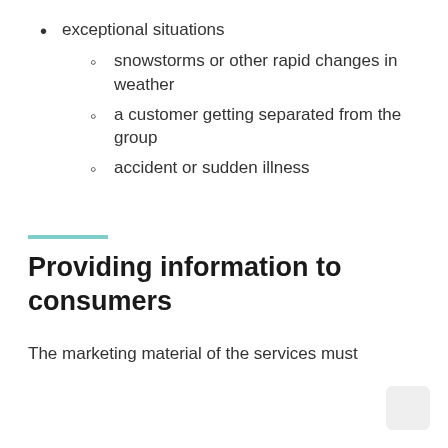exceptional situations
snowstorms or other rapid changes in weather
a customer getting separated from the group
accident or sudden illness
Providing information to consumers
The marketing material of the services must